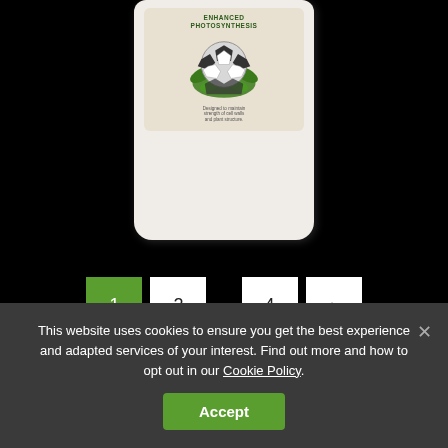[Figure (photo): Product bottle with label showing soccer ball surrounded by leaves and text 'ENHANCED PHOTOSYNTHESIS' on a dark background]
1 2 ... 4 ›
This website uses cookies to ensure you get the best experience and adapted services of your interest. Find out more and how to opt out in our Cookie Policy.
Accept